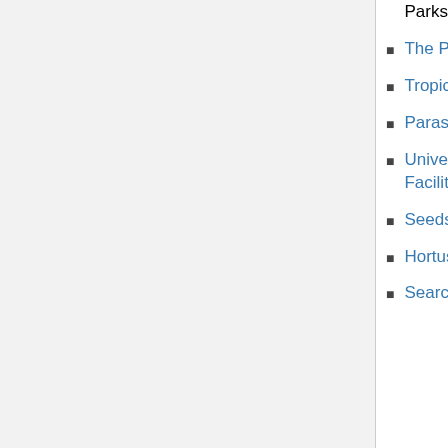Office of the Forest Herbarium [ext link] Department of National Parks, Wildlife and Plant Conservation in Thai
The Plant List [ext link]
Tropicos [ext link]
Parasitic Plant Connection - Balanophoraceae [ext link]
University of Wisconsin-Madison | Botany Plant Growth Facilities [ext link]
Seeds of Wild Plants of Korea [ext link]
Hortus Botanicus Leiden [ext link]
Search plant illustrations [ext link]